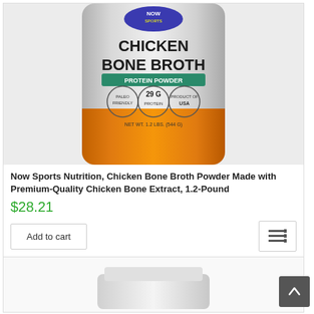[Figure (photo): NOW Sports Chicken Bone Broth Protein Powder container, silver and orange, showing label with CHICKEN BONE BROTH PROTEIN POWDER, Paleo Friendly, 29G Protein, Product of USA, Net Wt. 1.2 LBS (544 G)]
Now Sports Nutrition, Chicken Bone Broth Powder Made with Premium-Quality Chicken Bone Extract, 1.2-Pound
$28.21
Add to cart
[Figure (photo): Partial view of a white supplement container lid at the bottom of the page]